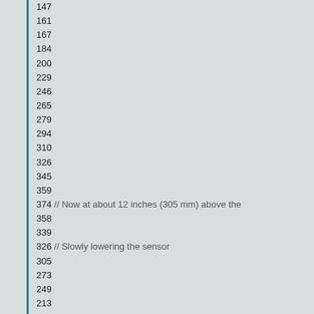147
161
167
184
200
229
246
265
279
294
310
326
345
359
374 // Now at about 12 inches (305 mm) above the
358
339
326 // Slowly lowering the sensor
305
273
249
213
186
158
133
113